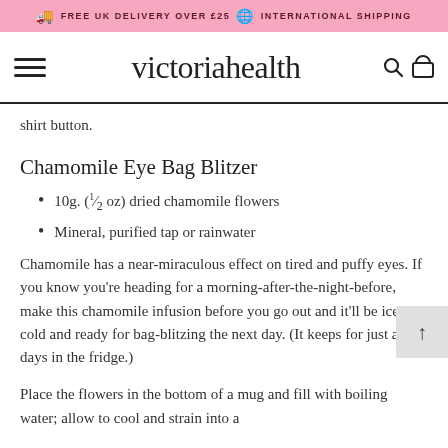FREE UK DELIVERY OVER £25  INTERNATIONAL SHIPPING
victoriahealth
shirt button.
Chamomile Eye Bag Blitzer
10g. (1/2 oz) dried chamomile flowers
Mineral, purified tap or rainwater
Chamomile has a near-miraculous effect on tired and puffy eyes. If you know you're heading for a morning-after-the-night-before, make this chamomile infusion before you go out and it'll be ice-cold and ready for bag-blitzing the next day. (It keeps for just a few days in the fridge.)
Place the flowers in the bottom of a mug and fill with boiling water; allow to cool and strain into a